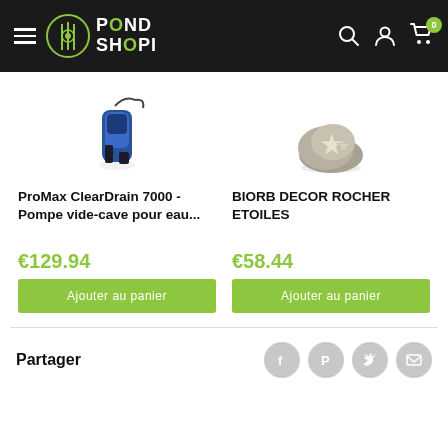[Figure (screenshot): PondShopi website header with dark background, hamburger menu, PondShopi logo with green circle icon, search icon, account icon, and cart icon with badge showing 0]
[Figure (photo): ProMax ClearDrain 7000 pump - partially visible blue/black pump device against white background]
[Figure (photo): BiOrb Decor Rocher Etoiles - decorative rock with starfish against white background]
ProMax ClearDrain 7000 - Pompe vide-cave pour eau...
BIORB DECOR ROCHER ETOILES
€129.94
€58.44
Ajouter au panier
Ajouter au panier
Partager